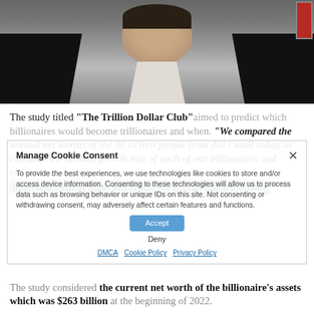[Figure (photo): Headshot of a man in a black jacket and white shirt against a dark background]
The study titled "The Trillion Dollar Club" aimed to predict which billionaires would become trillionaires and when. "We compared the annual net worths of the 30 richest people from 2017 until today, to calculate the annual growth rate of each of our billionaires and estimate how soon each of them will reach one trillion dollars. dollars".
The study considered the current net worth of the billionaire's assets which was $263 billion at the beginning of 2022.